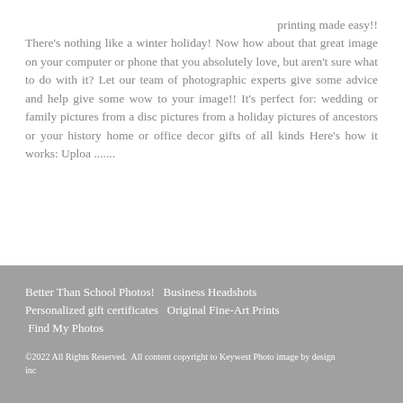printing made easy!! There's nothing like a winter holiday! Now how about that great image on your computer or phone that you absolutely love, but aren't sure what to do with it? Let our team of photographic experts give some advice and help give some wow to your image!! It's perfect for: wedding or family pictures from a disc pictures from a holiday pictures of ancestors or your history home or office decor gifts of all kinds Here's how it works: Uploa .......
Better Than School Photos!   Business Headshots   Personalized gift certificates   Original Fine-Art Prints   Find My Photos

©2022 All Rights Reserved.  All content copyright to Keywest Photo image by design inc